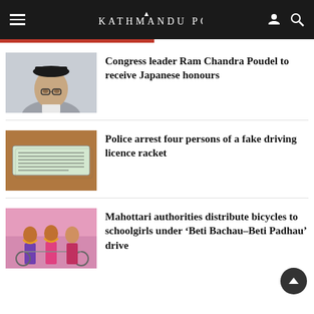THE KATHMANDU POST
[Figure (photo): Photo of Congress leader Ram Chandra Poudel, an elderly man wearing a traditional black Nepali topi hat and glasses]
Congress leader Ram Chandra Poudel to receive Japanese honours
[Figure (photo): Photo of a fake driving licence document on a brown surface]
Police arrest four persons of a fake driving licence racket
[Figure (photo): Photo of women with bicycles at a distribution event, wearing garlands]
Mahottari authorities distribute bicycles to schoolgirls under ‘Beti Bachau-Beti Padhau’ drive